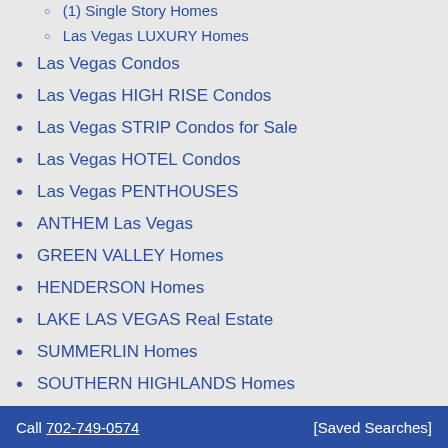(1) Single Story Homes
Las Vegas LUXURY Homes
Las Vegas Condos
Las Vegas HIGH RISE Condos
Las Vegas STRIP Condos for Sale
Las Vegas HOTEL Condos
Las Vegas PENTHOUSES
ANTHEM Las Vegas
GREEN VALLEY Homes
HENDERSON Homes
LAKE LAS VEGAS Real Estate
SUMMERLIN Homes
SOUTHERN HIGHLANDS Homes
Call 702-749-0574   [Saved Searches]